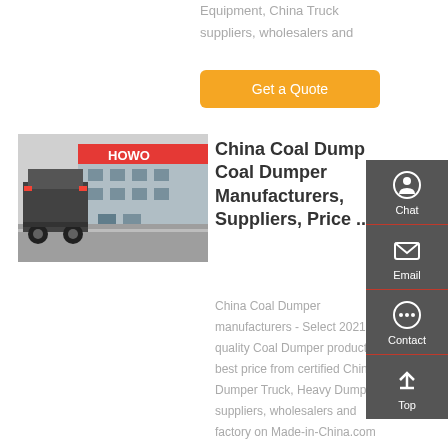Equipment, China Truck suppliers, wholesalers and
Get a Quote
[Figure (photo): Rear view of a SINOTRUK HOWO dump truck parked in front of a dealership building with red HOWO branding signage]
China Coal Dumper Coal Dumper Manufacturers, Suppliers, Price ...
China Coal Dumper manufacturers - Select 2021 high quality Coal Dumper products in best price from certified China Dumper Truck, Heavy Dump suppliers, wholesalers and factory on Made-in-China.com
Chat
Email
Contact
Top